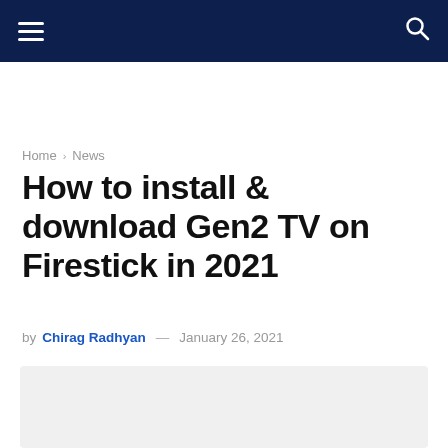Navigation bar with hamburger menu and search icon
Home › News
How to install & download Gen2 TV on Firestick in 2021
by Chirag Radhyan — January 26, 2021
[Figure (photo): Article hero image placeholder, light gray background]